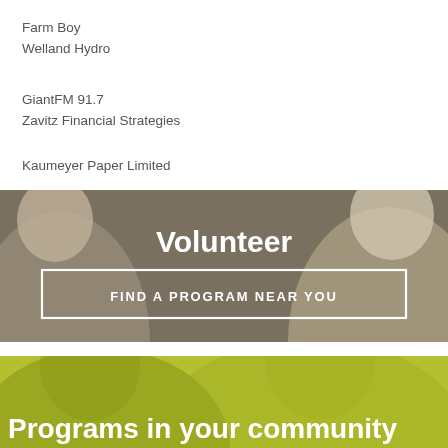Farm Boy
Welland Hydro
GiantFM 91.7
Zavitz Financial Strategies
Kaumeyer Paper Limited
[Figure (photo): Volunteer banner with elderly people and text 'Volunteer' and button 'FIND A PROGRAM NEAR YOU']
[Figure (photo): Programs in your community banner with yellow-green background and people silhouettes]